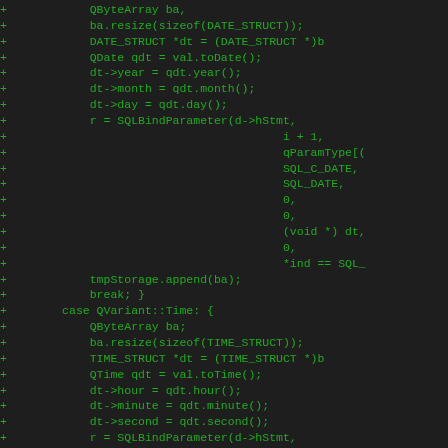Code diff showing C++ date/time binding code with SQLBindParameter calls using QDate and QTime Qt types mapped to SQL_C_DATE and SQL_C_TIME structures